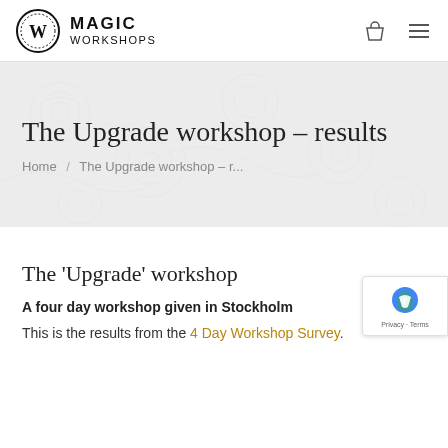MAGIC WORKSHOPS
The Upgrade workshop – results
Home / The Upgrade workshop – r...
The 'Upgrade' workshop
A four day workshop given in Stockholm
This is the results from the 4 Day Workshop Survey.